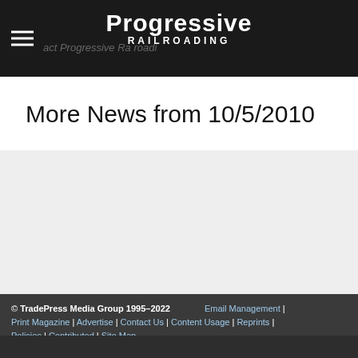Progressive Railroading
More News from 10/5/2010
© TradePress Media Group 1995–2022  |  Email Management  |  Print Magazine  |  Advertise  |  Contact Us  |  Content Usage  |  Reprints  |  Policies  |  Contributed  |  Site Map